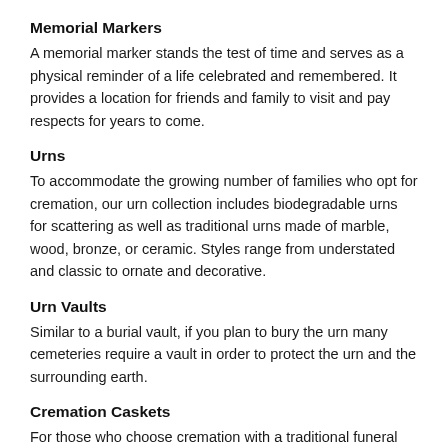Memorial Markers
A memorial marker stands the test of time and serves as a physical reminder of a life celebrated and remembered. It provides a location for friends and family to visit and pay respects for years to come.
Urns
To accommodate the growing number of families who opt for cremation, our urn collection includes biodegradable urns for scattering as well as traditional urns made of marble, wood, bronze, or ceramic. Styles range from understated and classic to ornate and decorative.
Urn Vaults
Similar to a burial vault, if you plan to bury the urn many cemeteries require a vault in order to protect the urn and the surrounding earth.
Cremation Caskets
For those who choose cremation with a traditional funeral service, we offer cremation caskets built specifically for